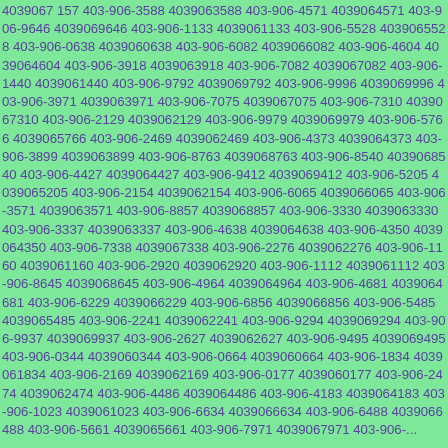4039067 157 403-906-3588 4039063588 403-906-4571 4039064571 403-906-9646 4039069646 403-906-1133 4039061133 403-906-5528 4039065528 403-906-0638 4039060638 403-906-6082 4039066082 403-906-4604 4039064604 403-906-3918 4039063918 403-906-7082 4039067082 403-906-1440 4039061440 403-906-9792 4039069792 403-906-9996 4039069996 403-906-3971 4039063971 403-906-7075 4039067075 403-906-7310 4039067310 403-906-2129 4039062129 403-906-9979 4039069979 403-906-5766 4039065766 403-906-2469 4039062469 403-906-4373 4039064373 403-906-3899 4039063899 403-906-8763 4039068763 403-906-8540 4039068540 403-906-4427 4039064427 403-906-9412 4039069412 403-906-5205 4039065205 403-906-2154 4039062154 403-906-6065 4039066065 403-906-3571 4039063571 403-906-8857 4039068857 403-906-3330 4039063330 403-906-3337 4039063337 403-906-4638 4039064638 403-906-4350 4039064350 403-906-7338 4039067338 403-906-2276 4039062276 403-906-1160 4039061160 403-906-2920 4039062920 403-906-1112 4039061112 403-906-8645 4039068645 403-906-4964 4039064964 403-906-4681 4039064681 403-906-6229 4039066229 403-906-6856 4039066856 403-906-5485 4039065485 403-906-2241 4039062241 403-906-9294 4039069294 403-906-9937 4039069937 403-906-2627 4039062627 403-906-9495 4039069495 403-906-0344 4039060344 403-906-0664 4039060664 403-906-1834 4039061834 403-906-2169 4039062169 403-906-0177 4039060177 403-906-2474 4039062474 403-906-4486 4039064486 403-906-4183 4039064183 403-906-1023 4039061023 403-906-6634 4039066634 403-906-6488 4039066488 403-906-5661 4039065661 403-906-7971 4039067971 403-906-...